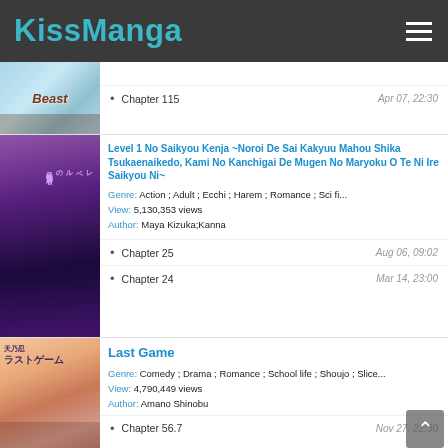KissManga
[Figure (screenshot): Manga cover image for Beast]
• Chapter 115   Apr 07, 22:30
[Figure (illustration): Manga cover for Level 1 No Saikyou Kenja]
Level 1 No Saikyou Kenja ~Noroi De Sai Kakyuu Mahou Shika Tsukaenaikedo, Kami No Kanchigai De Mugen No Maryoku O Te Ni Ire Saikyou Ni~
Genre: Action ; Adult ; Ecchi ; Harem ; Romance ; Sci fi...
View: 5,130,353 views
Author: Maya Kizuka;Kanna
• Chapter 25   Aug 06, 09:02
• Chapter 24   Mar 14, 23:00
[Figure (illustration): Manga cover for Last Game]
Last Game
Genre: Comedy ; Drama ; Romance ; School life ; Shoujo ; Slice...
View: 4,790,449 views
Author: Amano Shinobu
• Chapter 56.7   Nov 27, 22:30